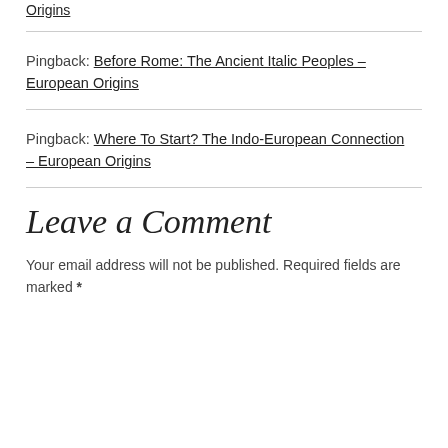Origins
Pingback: Before Rome: The Ancient Italic Peoples – European Origins
Pingback: Where To Start? The Indo-European Connection – European Origins
Leave a Comment
Your email address will not be published. Required fields are marked *